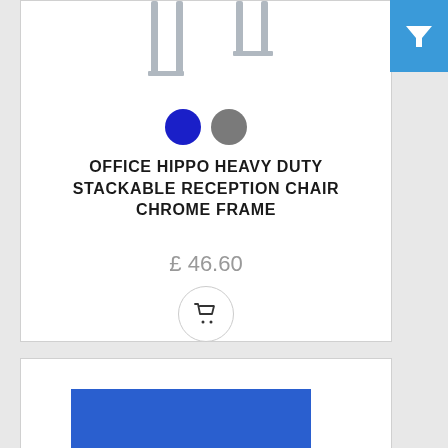[Figure (screenshot): Filter button with funnel icon on blue background, top right corner]
[Figure (photo): Partial product image of chair legs (chrome frame) visible at top of first product card]
[Figure (other): Two color swatches: blue circle and gray circle representing available colors]
OFFICE HIPPO HEAVY DUTY STACKABLE RECEPTION CHAIR CHROME FRAME
£ 46.60
[Figure (other): Shopping cart icon inside a circular button]
[Figure (photo): Second product card showing partial image of blue office divider/screen panel]